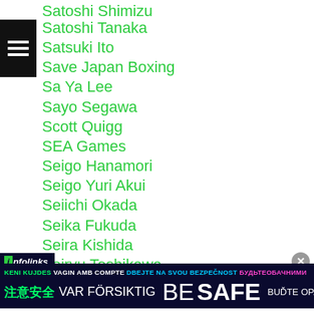Satoshi Shimizu
Satoshi Tanaka
Satsuki Ito
Save Japan Boxing
Sa Ya Lee
Sayo Segawa
Scott Quigg
SEA Games
Seigo Hanamori
Seigo Yuri Akui
Seiichi Okada
Seika Fukuda
Seira Kishida
Seiryu Toshikawa
Seita Ogido
Seiya Fujikita
[Figure (screenshot): Infolinks ad banner with 'BE SAFE' safety message in multiple languages on dark blue background]